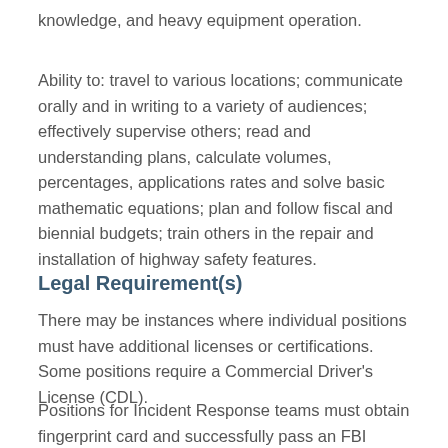knowledge, and heavy equipment operation.
Ability to: travel to various locations; communicate orally and in writing to a variety of audiences; effectively supervise others; read and understanding plans, calculate volumes, percentages, applications rates and solve basic mathematic equations; plan and follow fiscal and biennial budgets; train others in the repair and installation of highway safety features.
Legal Requirement(s)
There may be instances where individual positions must have additional licenses or certifications. Some positions require a Commercial Driver's License (CDL).
Positions for Incident Response teams must obtain fingerprint card and successfully pass an FBI background